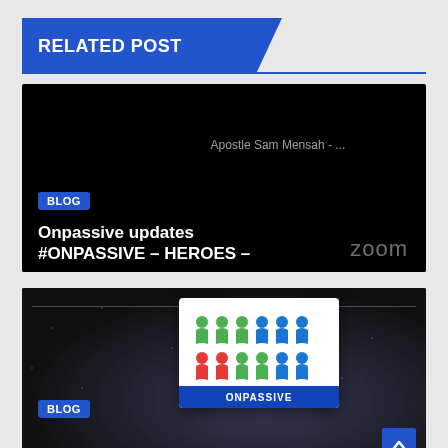RELATED POST
[Figure (screenshot): Black background card showing BLOG badge, 'Apostle Sam Mensah - ...' text, title 'Onpassive updates #ONPASSIVE – HEROES –', and zoom watermark]
[Figure (screenshot): Dark background card with snow effect, showing colorful people icons on white paper, BLOG badge, and 'Onpassive company' title text]